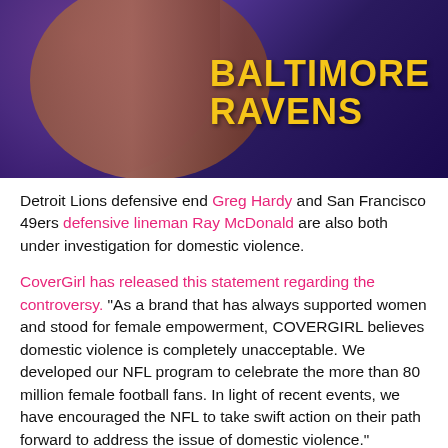[Figure (photo): A woman with curly purple-tinted hair and makeup, smiling, with Baltimore Ravens text in yellow/gold on the right side of the image, and cosmetics products visible in upper right corner.]
Detroit Lions defensive end Greg Hardy and San Francisco 49ers defensive lineman Ray McDonald are also both under investigation for domestic violence.
CoverGirl has released this statement regarding the controversy. “As a brand that has always supported women and stood for female empowerment, COVERGIRL believes domestic violence is completely unacceptable. We developed our NFL program to celebrate the more than 80 million female football fans. In light of recent events, we have encouraged the NFL to take swift action on their path forward to address the issue of domestic violence.”